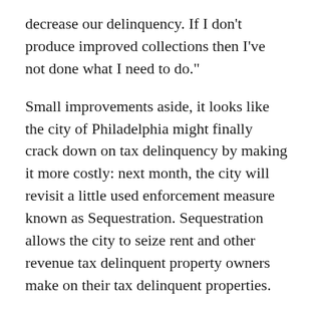decrease our delinquency. If I don't produce improved collections then I've not done what I need to do."
Small improvements aside, it looks like the city of Philadelphia might finally crack down on tax delinquency by making it more costly: next month, the city will revisit a little used enforcement measure known as Sequestration. Sequestration allows the city to seize rent and other revenue tax delinquent property owners make on their tax delinquent properties.
The city has also begun to revoke Commercial Activity Licenses, which are required to operate businesses, including rental businesses, in Philadelphia. The city is also considering towing and booting the cars of tax delinquents.